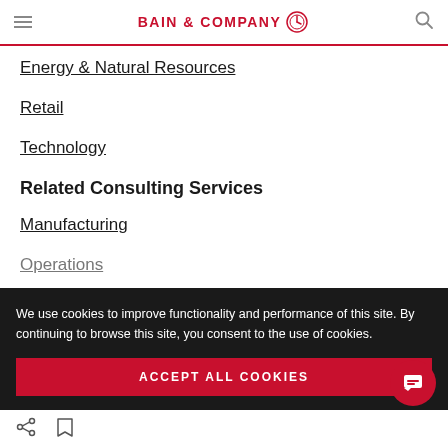BAIN & COMPANY
Energy & Natural Resources
Retail
Technology
Related Consulting Services
Manufacturing
Operations (partially visible)
We use cookies to improve functionality and performance of this site. By continuing to browse this site, you consent to the use of cookies.
ACCEPT ALL COOKIES